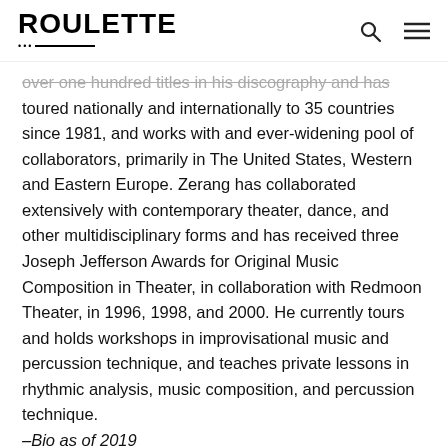ROULETTE
over one hundred titles in his discography and has toured nationally and internationally to 35 countries since 1981, and works with and ever-widening pool of collaborators, primarily in The United States, Western and Eastern Europe. Zerang has collaborated extensively with contemporary theater, dance, and other multidisciplinary forms and has received three Joseph Jefferson Awards for Original Music Composition in Theater, in collaboration with Redmoon Theater, in 1996, 1998, and 2000. He currently tours and holds workshops in improvisational music and percussion technique, and teaches private lessons in rhythmic analysis, music composition, and percussion technique.
–Bio as of 2019